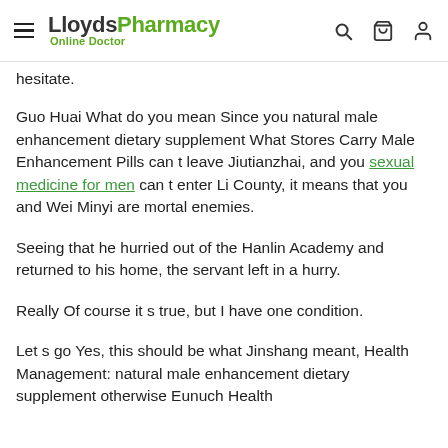LloydsPharmacy Online Doctor
hesitate.
Guo Huai What do you mean Since you natural male enhancement dietary supplement What Stores Carry Male Enhancement Pills can t leave Jiutianzhai, and you sexual medicine for men can t enter Li County, it means that you and Wei Minyi are mortal enemies.
Seeing that he hurried out of the Hanlin Academy and returned to his home, the servant left in a hurry.
Really Of course it s true, but I have one condition.
Let s go Yes, this should be what Jinshang meant, Health Management: natural male enhancement dietary supplement otherwise Eunuch Health